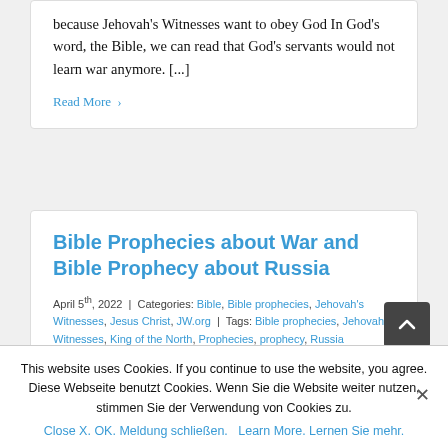because Jehovah's Witnesses want to obey God In God's word, the Bible, we can read that God's servants would not learn war anymore. [...]
Read More >
Bible Prophecies about War and Bible Prophecy about Russia
April 5th, 2022 | Categories: Bible, Bible prophecies, Jehovah's Witnesses, Jesus Christ, JW.org | Tags: Bible prophecies, Jehovah's Witnesses, King of the North, Prophecies, prophecy, Russia
This website uses Cookies. If you continue to use the website, you agree. Diese Webseite benutzt Cookies. Wenn Sie die Website weiter nutzen, stimmen Sie der Verwendung von Cookies zu.
Close X. OK. Meldung schließen.   Learn More. Lernen Sie mehr.